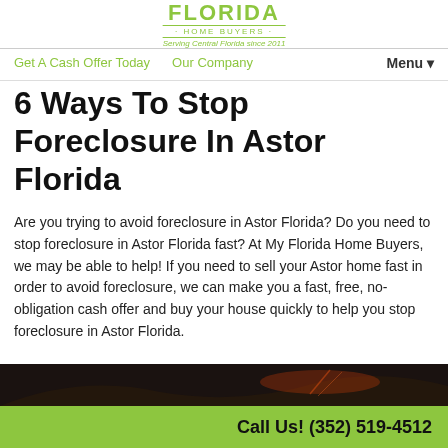FLORIDA HOME BUYERS · Serving Central Florida since 2011
Get A Cash Offer Today   Our Company   Menu▾
6 Ways To Stop Foreclosure In Astor Florida
Are you trying to avoid foreclosure in Astor Florida? Do you need to stop foreclosure in Astor Florida fast? At My Florida Home Buyers, we may be able to help! If you need to sell your Astor home fast in order to avoid foreclosure, we can make you a fast, free, no-obligation cash offer and buy your house quickly to help you stop foreclosure in Astor Florida.
[Figure (photo): Dark image strip at bottom of page showing a house or related real estate imagery]
Call Us! (352) 519-4512